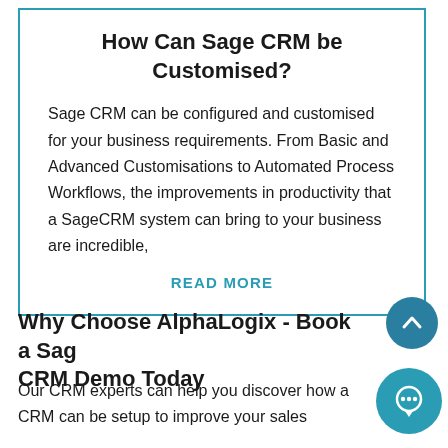How Can Sage CRM be Customised?
Sage CRM can be configured and customised for your business requirements. From Basic and Advanced Customisations to Automated Process Workflows, the improvements in productivity that a SageCRM system can bring to your business are incredible,
READ MORE
Why Choose AlphaLogix - Book a Sage CRM Demo Today
Our CRM experts can help you discover how a CRM can be setup to improve your sales